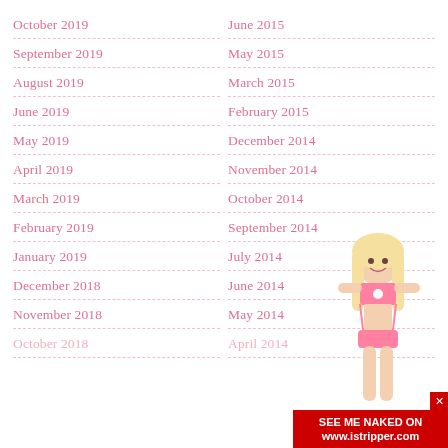October 2019
September 2019
August 2019
June 2019
May 2019
April 2019
March 2019
February 2019
January 2019
December 2018
November 2018
October 2018
June 2015
May 2015
March 2015
February 2015
December 2014
November 2014
October 2014
September 2014
July 2014
June 2014
May 2014
April 2014
[Figure (photo): Blonde woman in pink lingerie with advertisement banner for istripper.com overlaid at the bottom right corner. Banner reads SEE ME NAKED ON www.istripper.com]